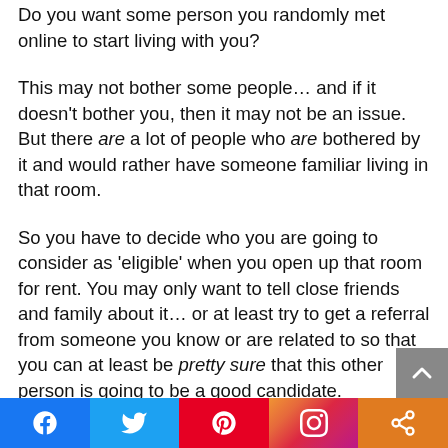Do you want some person you randomly met online to start living with you?
This may not bother some people… and if it doesn't bother you, then it may not be an issue. But there are a lot of people who are bothered by it and would rather have someone familiar living in that room.
So you have to decide who you are going to consider as 'eligible' when you open up that room for rent. You may only want to tell close friends and family about it… or at least try to get a referral from someone you know or are related to so that you can at least be pretty sure that this other person is going to be a good candidate.
[Figure (other): Social media share bar with Facebook, Twitter, Pinterest, Instagram, and share icons]